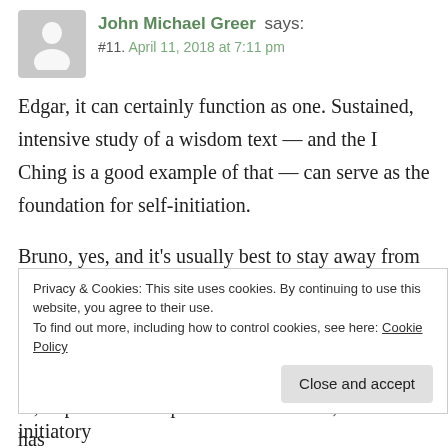John Michael Greer says: #11. April 11, 2018 at 7:11 pm
Edgar, it can certainly function as one. Sustained, intensive study of a wisdom text — and the I Ching is a good example of that — can serve as the foundation for self-initiation.
Bruno, yes, and it's usually best to stay away from them, especially in the first decade or two of your initiatory work. Since each of us has different potentials for magnificence or, to put the same point in other words, each of us has
Privacy & Cookies: This site uses cookies. By continuing to use this website, you agree to their use.
To find out more, including how to control cookies, see here: Cookie Policy
develop on their own as part of a more general initiatory